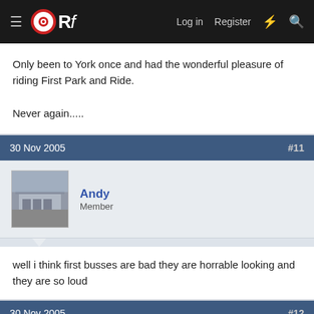ORf — Log in  Register
Only been to York once and had the wonderful pleasure of riding First Park and Ride.

Never again.....
30 Nov 2005  #11
Andy
Member
well i think first busses are bad they are horrable looking and they are so loud
30 Nov 2005  #12
Jim
Established Member